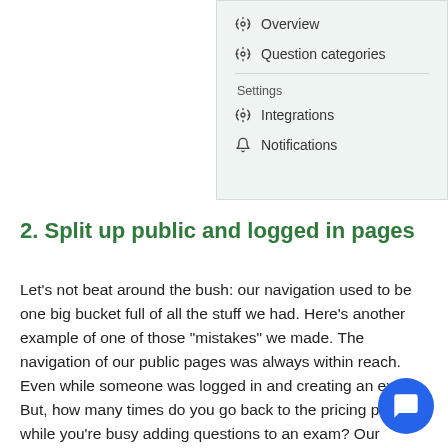[Figure (screenshot): Navigation menu screenshot showing items: Overview, Question categories, then a Settings section with Integrations and Notifications, each with gear/bell icons. Light teal background panel.]
2. Split up public and logged in pages
Let’s not beat around the bush: our navigation used to be one big bucket full of all the stuff we had. Here’s another example of one of those “mistakes” we made. The navigation of our public pages was always within reach. Even while someone was logged in and creating an exam. But, how many times do you go back to the pricing page while you’re busy adding questions to an exam? Our guess: never.